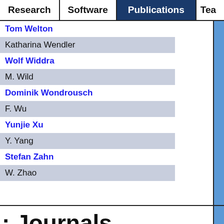Research | Software | Publications | Tea...
Tom Welton
Katharina Wendler
Wolf Widdra
M. Wild
Dominik Wondrousch
F. Wu
Yunjie Xu
Y. Yang
Stefan Zahn
W. Zhao
: Journals